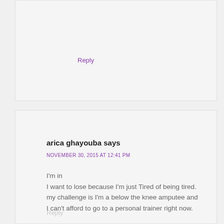Reply
arica ghayouba says
NOVEMBER 30, 2015 AT 12:41 PM
I'm in
I want to lose because I'm just Tired of being tired. my challenge is I'm a below the knee amputee and I can't afford to go to a personal trainer right now.
Reply